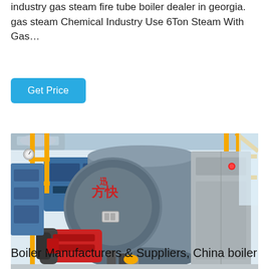industry gas steam fire tube boiler dealer in georgia. gas steam Chemical Industry Use 6Ton Steam With Gas...
Get Price
[Figure (photo): Industrial gas steam fire tube boiler facility showing a large blue cylindrical boiler with Chinese characters, yellow safety railings, red burner assembly, and control cabinet.]
Boiler Manufacturers & Suppliers, China boiler